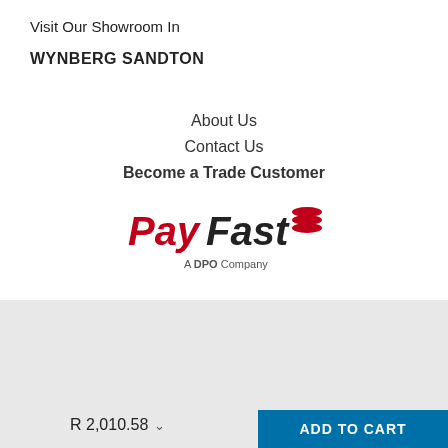Visit Our Showroom In
WYNBERG SANDTON
About Us
Contact Us
Become a Trade Customer
[Figure (logo): PayFast – A DPO Company logo with red and black text and red stacked discs icon]
© 2022 WYNBERG LIGHTS. POWERED BY WYNBERG LIGHTS
Follow Us
[Figure (logo): Facebook circular logo icon in blue]
Chat with us
R 2,010.58
ADD TO CART